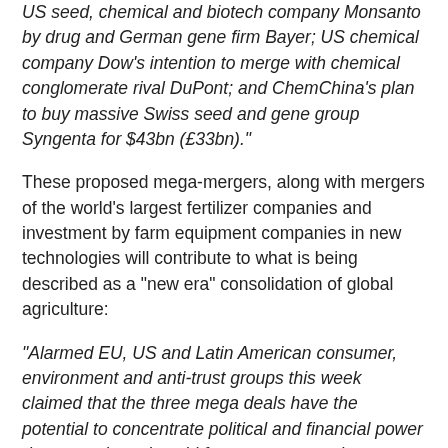US seed, chemical and biotech company Monsanto by drug and German gene firm Bayer; US chemical company Dow's intention to merge with chemical conglomerate rival DuPont; and ChemChina's plan to buy massive Swiss seed and gene group Syngenta for $43bn (£33bn)."
These proposed mega-mergers, along with mergers of the world's largest fertilizer companies and investment by farm equipment companies in new technologies will contribute to what is being described as a "new era" consolidation of global agriculture:
"Alarmed EU, US and Latin American consumer, environment and anti-trust groups this week claimed that the three mega deals have the potential to concentrate political and financial power dangerously and could force more countries to adopt a single model of farming that excludes or